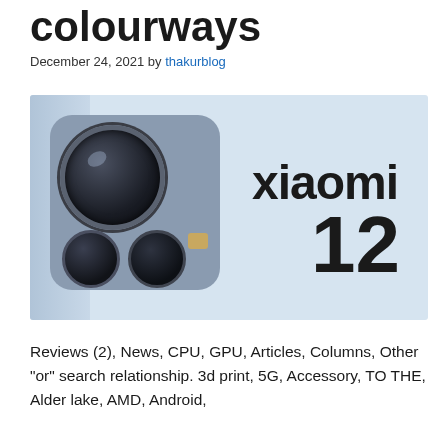colourways
December 24, 2021 by thakurblog
[Figure (photo): Xiaomi 12 smartphone rear view showing camera module on light blue background with 'xiaomi 12' branding text]
Reviews (2), News, CPU, GPU, Articles, Columns, Other "or" search relationship. 3d print, 5G, Accessory, TO THE, Alder lake, AMD, Android,